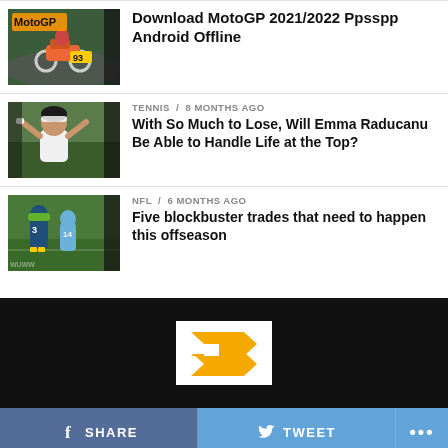[Figure (photo): MotoGP motorcycle racing thumbnail image]
Download MotoGP 2021/2022 Ppsspp Android Offline
[Figure (photo): Emma Raducanu tennis player thumbnail image]
TENNIS / 8 months ago
With So Much to Lose, Will Emma Raducanu Be Able to Handle Life at the Top?
[Figure (photo): NFL football players thumbnail image]
NFL / 6 months ago
Five blockbuster trades that need to happen this offseason
[Figure (logo): Bleacher Report style logo with yellow B-like arrow shape on white background, on dark footer]
[Figure (other): Share bar with Facebook SHARE, Twitter TWEET, and more (...) buttons]